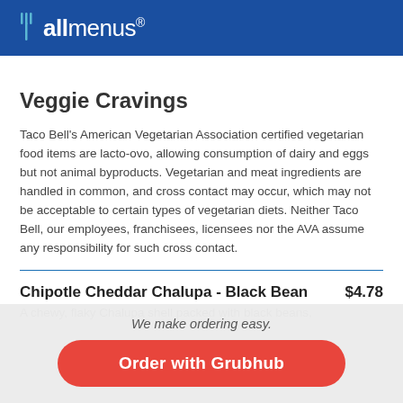allmenus
Veggie Cravings
Taco Bell's American Vegetarian Association certified vegetarian food items are lacto-ovo, allowing consumption of dairy and eggs but not animal byproducts. Vegetarian and meat ingredients are handled in common, and cross contact may occur, which may not be acceptable to certain types of vegetarian diets. Neither Taco Bell, our employees, franchisees, licensees nor the AVA assume any responsibility for such cross contact.
Chipotle Cheddar Chalupa - Black Bean $4.78
A chewy, flaky Chalupa shell packed with black beans,
We make ordering easy.
Order with Grubhub